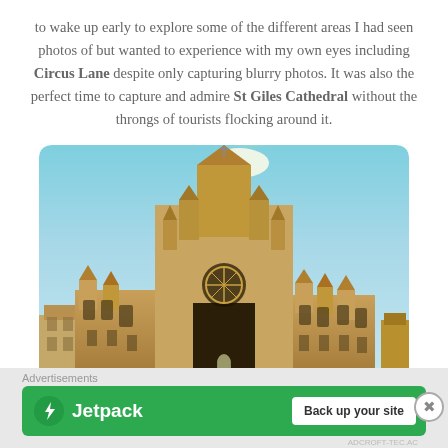to wake up early to explore some of the different areas I had seen photos of but wanted to experience with my own eyes including Circus Lane despite only capturing blurry photos. It was also the perfect time to capture and admire St Giles Cathedral without the throngs of tourists flocking around it.
[Figure (photo): Photo of St Giles Cathedral in Edinburgh, a large Gothic stone cathedral with ornate spires and a prominent arched entrance, photographed from ground level with warm golden tones and a blue sky with sun flare effect.]
Advertisements
[Figure (other): Jetpack advertisement banner with green background, Jetpack logo with lightning bolt icon on the left, and a white 'Back up your site' button on the right.]